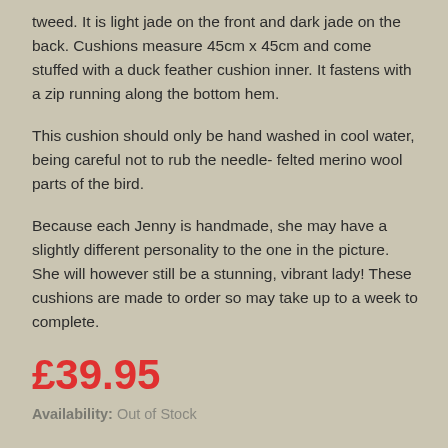tweed. It is light jade on the front and dark jade on the back. Cushions measure 45cm x 45cm and come stuffed with a duck feather cushion inner. It fastens with a zip running along the bottom hem.
This cushion should only be hand washed in cool water, being careful not to rub the needle- felted merino wool parts of the bird.
Because each Jenny is handmade, she may have a slightly different personality to the one in the picture. She will however still be a stunning, vibrant lady! These cushions are made to order so may take up to a week to complete.
£39.95
Availability: Out of Stock